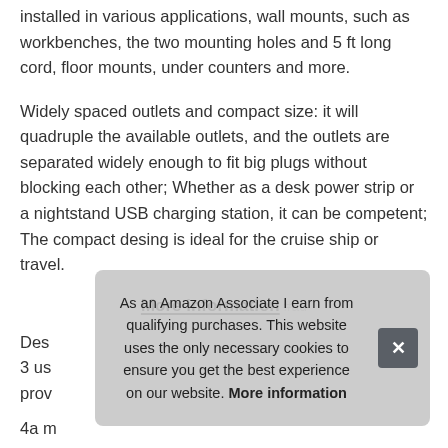installed in various applications, wall mounts, such as workbenches, the two mounting holes and 5 ft long cord, floor mounts, under counters and more.
Widely spaced outlets and compact size: it will quadruple the available outlets, and the outlets are separated widely enough to fit big plugs without blocking each other; Whether as a desk power strip or a nightstand USB charging station, it can be competent; The compact desing is ideal for the cruise ship or travel.
More information #ad
Des... 3 us... prov...
4a m...
[Figure (other): Cookie consent overlay popup: 'As an Amazon Associate I earn from qualifying purchases. This website uses the only necessary cookies to ensure you get the best experience on our website. More information' with a close (x) button.]